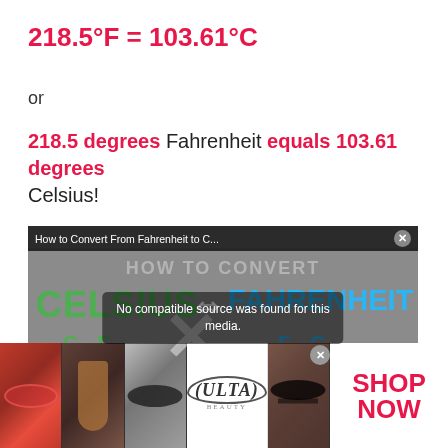218.5°F = 103.61°C
or
218.5 degrees Fahrenheit equals 103.61 degrees Celsius!
[Figure (screenshot): Embedded video player showing 'How to Convert From Fahrenheit to C...' with a Celsius to Fahrenheit conversion diagram. A message reads 'No compatible source was found for this media.']
[Figure (photo): Ulta Beauty advertisement banner showing close-up beauty/makeup photos with 'SHOP NOW' text.]